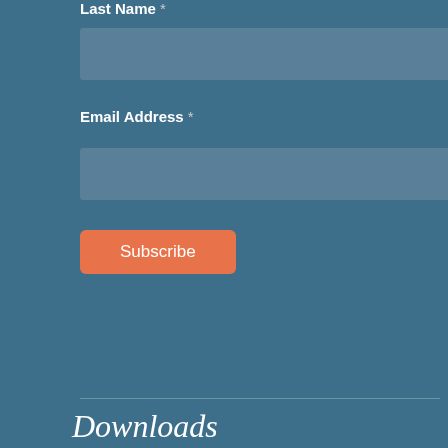Last Name *
[Figure (other): Empty text input field for Last Name]
Email Address *
[Figure (other): Empty text input field for Email Address]
[Figure (other): Subscribe button]
Downloads